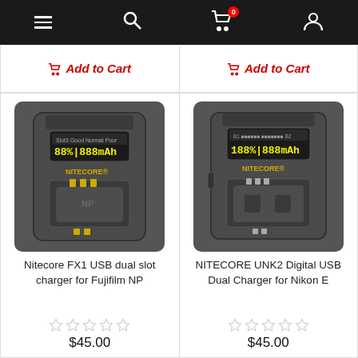Navigation bar with menu, search, cart (0), and account icons
Add to Cart (left product)
Add to Cart (right product)
[Figure (photo): Nitecore FX1 USB dual slot charger for Fujifilm NP - gray charger device with LCD display showing 88% 1888mAh and gold contacts]
[Figure (photo): NITECORE UNK2 Digital USB Dual Charger for Nikon E - gray charger device with LCD display showing 188% 1888mAh]
Nitecore FX1 USB dual slot charger for Fujifilm NP
NITECORE UNK2 Digital USB Dual Charger for Nikon E
★★★★★ $45.00 (left)
★★★★★ $45.00 (right)